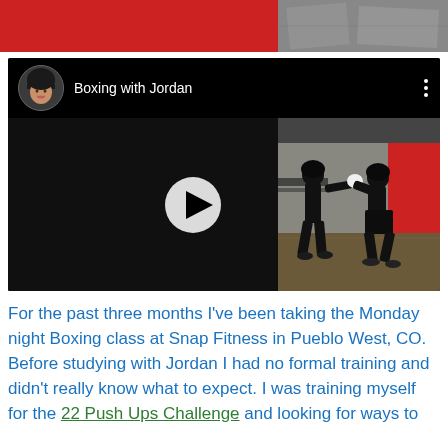[Figure (photo): Top banner with red block on left and blurred motion photo on right]
[Figure (screenshot): Embedded YouTube-style video player showing 'Boxing with Jordan' channel. Header has a circular avatar of a woman in a black beanie hat, channel name 'Boxing with Jordan', and three-dot menu. Video shows two people sparring/boxing in a gym with red accent walls and wood floors. A white play button triangle is overlaid on the video.]
For the past three months I've been taking the Monday night Boxing class at Snap Fitness in Pueblo West, CO. Before studying with Jordan I had no formal training and didn't really know what to expect. I was training myself for the 22 Push Ups Challenge and looking for ways to